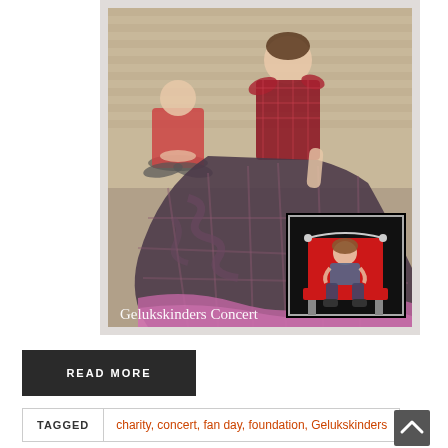[Figure (photo): Concert promotional image titled 'Gelukskinders Concert' showing a teenage girl in a large plaid/tartan ballgown dress standing in front of a brick wall, with a younger girl sitting cross-legged behind her. An inset photo in the lower right shows a girl sitting on an ornate red throne chair against a black background.]
READ MORE
TAGGED   charity, concert, fan day, foundation, Gelukskinders